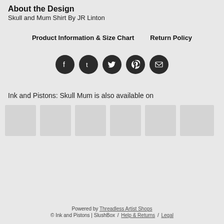About the Design
Skull and Mum Shirt By JR Linton
Product Information & Size Chart     Return Policy
[Figure (infographic): Five social media icon circles (Facebook, Tumblr, Twitter, Pinterest, Email) in dark gray/black circles arranged horizontally]
Ink and Pistons: Skull Mum is also available on
[Figure (infographic): Six light gray thumbnail image placeholders arranged horizontally]
Powered by Threadless Artist Shops
© Ink and Pistons | SlushBox / Help & Returns / Legal